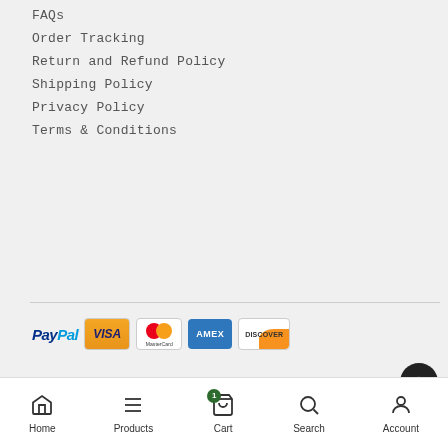FAQs
Order Tracking
Return and Refund Policy
Shipping Policy
Privacy Policy
Terms & Conditions
[Figure (logo): Payment method logos: PayPal, Visa, MasterCard, Amex, Discover]
Copyright © 2021 – 2022 STERMART. All Rights Reserved.
Home | Products | Cart | Search | Account